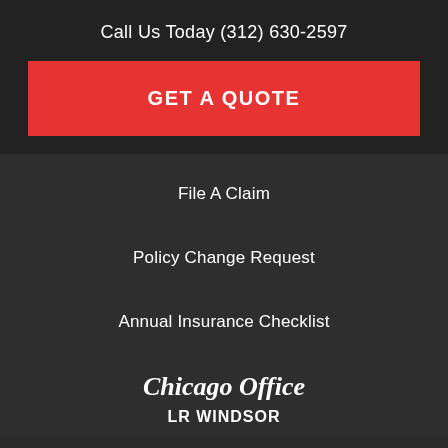Call Us Today (312) 630-2597
GET A QUOTE
File A Claim
Policy Change Request
Annual Insurance Checklist
Chicago Office
LR WINDSOR